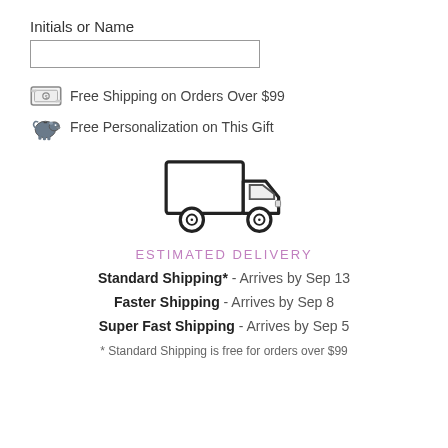Initials or Name
[input field]
Free Shipping on Orders Over $99
Free Personalization on This Gift
[Figure (illustration): Delivery truck icon outline]
ESTIMATED DELIVERY
Standard Shipping* - Arrives by Sep 13
Faster Shipping - Arrives by Sep 8
Super Fast Shipping - Arrives by Sep 5
* Standard Shipping is free for orders over $99